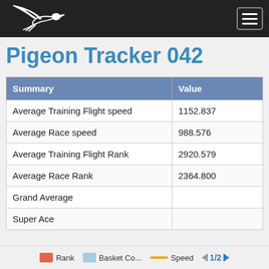Pigeon Tracker - Navigation header with logo and menu
Pigeon Tracker 042
| Summary | Value |
| --- | --- |
| Average Training Flight speed | 1152.837 |
| Average Race speed | 988.576 |
| Average Training Flight Rank | 2920.579 |
| Average Race Rank | 2364.800 |
| Grand Average |  |
| Super Ace |  |
Rank   Basket Co...   Speed   1/2